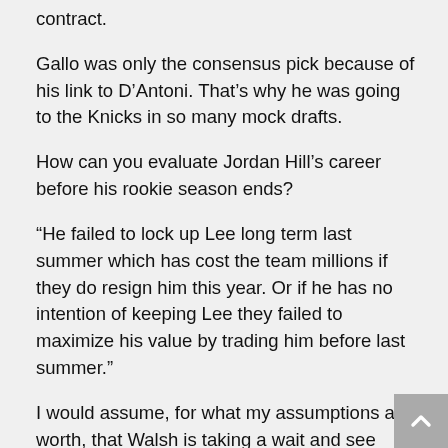contract.
Gallo was only the consensus pick because of his link to D’Antoni. That’s why he was going to the Knicks in so many mock drafts.
How can you evaluate Jordan Hill’s career before his rookie season ends?
“He failed to lock up Lee long term last summer which has cost the team millions if they do resign him this year. Or if he has no intention of keeping Lee they failed to maximize his value by trading him before last summer.”
I would assume, for what my assumptions are worth, that Walsh is taking a wait and see approach on Lee. I think that is BY FAR the best way to play it. Is paying 1-4 more million per year to Lee such a high price that